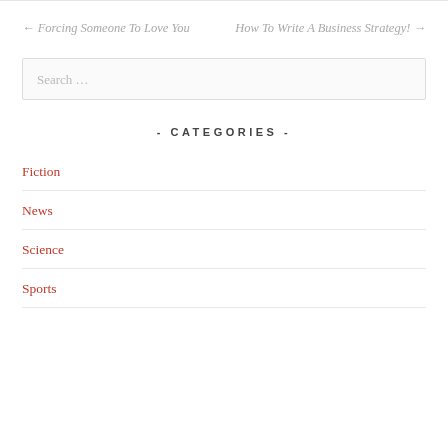← Forcing Someone To Love You
How To Write A Business Strategy! →
Search …
- CATEGORIES -
Fiction
News
Science
Sports